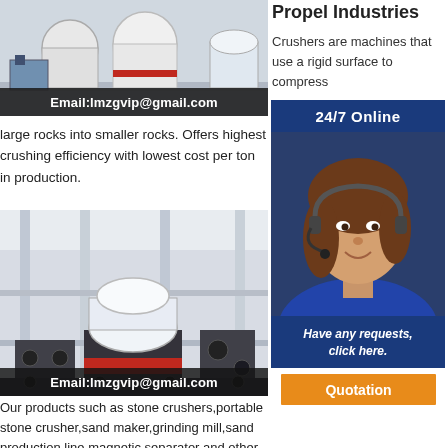[Figure (photo): Industrial machinery/crusher in a factory setting, with email overlay: Email:lmzgvip@gmail.com]
Propel Industries
Crushers are machines that use a rigid surface to compress large rocks into smaller rocks. Offers highest crushing efficiency with lowest cost per ton in production.
[Figure (photo): Industrial sand making machine/mill in a large facility, with email overlay: Email:lmzgvip@gmail.com]
Stone Crusher,
Sand Maker,
Grinding Mill,
Manufacturer
Our products such as stone crushers,portable stone crusher,sand maker,grinding mill,sand production line,magnetic separator and other machines are built to perfection. Ball Mill, Magnetic Separator, Flotation Cell, Rod Mill